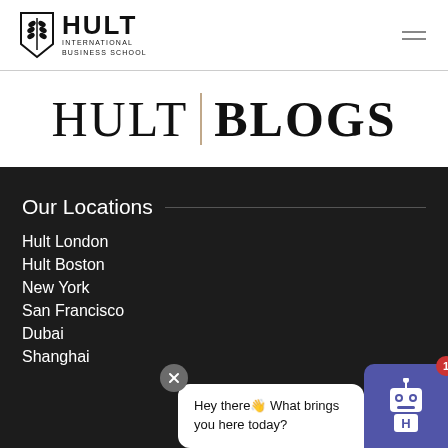[Figure (logo): Hult International Business School logo with wheat/leaf shield icon and wordmark]
HULT | BLOGS
Our Locations
Hult London
Hult Boston
New York
San Francisco
Dubai
Shanghai
[Figure (screenshot): Chat bot widget with message 'Hey there👋 What brings you here today?' and robot avatar with badge showing 1]